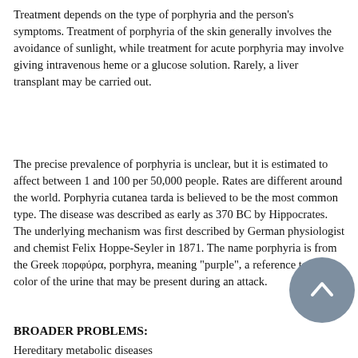Treatment depends on the type of porphyria and the person's symptoms. Treatment of porphyria of the skin generally involves the avoidance of sunlight, while treatment for acute porphyria may involve giving intravenous heme or a glucose solution. Rarely, a liver transplant may be carried out.
The precise prevalence of porphyria is unclear, but it is estimated to affect between 1 and 100 per 50,000 people. Rates are different around the world. Porphyria cutanea tarda is believed to be the most common type. The disease was described as early as 370 BC by Hippocrates. The underlying mechanism was first described by German physiologist and chemist Felix Hoppe-Seyler in 1871. The name porphyria is from the Greek πορφύρα, porphyra, meaning "purple", a reference to the color of the urine that may be present during an attack.
BROADER PROBLEMS:
Hereditary metabolic diseases